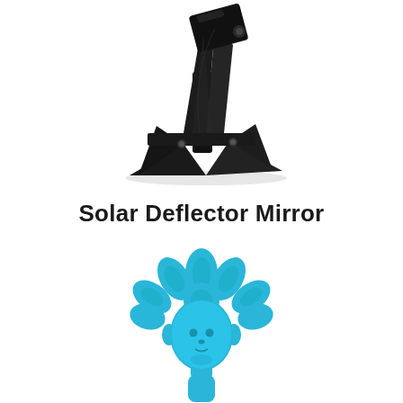[Figure (photo): A black metal solar deflector mirror device on an angled stand/mount, photographed at an angle against a white background.]
Solar Deflector Mirror
[Figure (photo): A bright blue decorative hand mirror shaped like a Native American chief with a headdress made of flowers/feathers, shown from the front against a white background.]